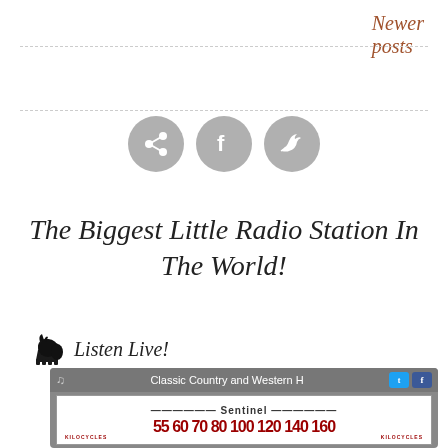Newer posts
[Figure (other): Three social media icon circles (share, Facebook, Twitter) in grey]
The Biggest Little Radio Station In The World!
Listen Live!
[Figure (screenshot): Radio widget showing Classic Country and Western H with a Sentinel radio dial displaying kilocycles 55 60 70 80 100 120 140 160]